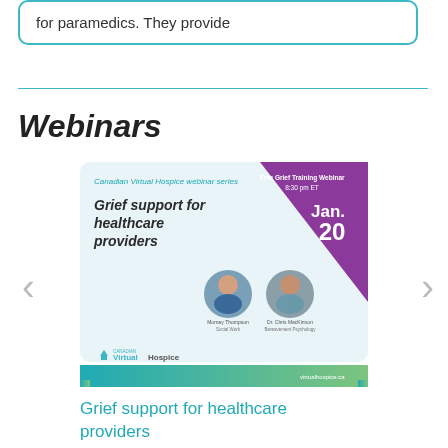for paramedics. They provide
Webinars
[Figure (screenshot): Canadian Virtual Hospice webinar series promotional card for 'Grief support for healthcare providers', dated Jan. 20, 8:30 pm ET. Shows two speaker photos: Morney Thompson (Social Work) and Dr. Chris MacKinnon (Bereavement Psychology). Purple triangle corner, teal/green logo bar at bottom with virtualhospice.ca.]
Grief support for healthcare providers